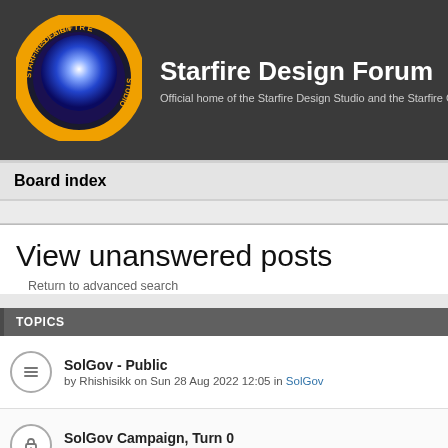Starfire Design Forum — Official home of the Starfire Design Studio and the Starfire C
Board index
View unanswered posts
Return to advanced search
| TOPICS |
| --- |
| SolGov - Public | by Rhishisikk on Sun 28 Aug 2022 12:05 in SolGov |
| SolGov Campaign, Turn 0 | by Rhishisikk on Thu 25 Aug 2022 00:13 in SolGov |
| The Hokum - Chapter 7.25 |  |